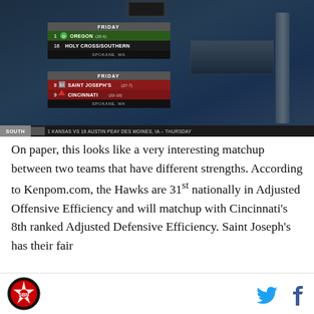[Figure (screenshot): TV broadcast screenshot showing NCAA Tournament bracket matchups. Friday games in Spokane, WA: 1 Oregon (28-6) vs 16 Holy Cross/Southern; 8 Saint Joseph's (27-7) vs 9 Cincinnati (22-10). Bottom ticker shows South region: 1 Kansas vs 16 Austin Peay, Des Moines, IA - Thursday.]
On paper, this looks like a very interesting matchup between two teams that have different strengths. According to Kenpom.com, the Hawks are 31st nationally in Adjusted Offensive Efficiency and will matchup with Cincinnati's 8th ranked Adjusted Defensive Efficiency. Saint Joseph's has their fair
[Figure (logo): SB Nation logo in footer (circular red/black logo)]